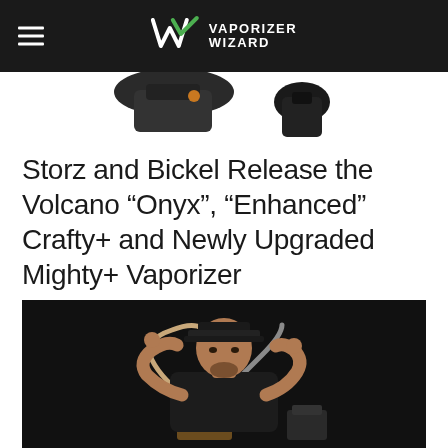Vaporizer Wizard
[Figure (photo): Partial top view of vaporizer devices against white background, cropped]
Storz and Bickel Release the Volcano “Onyx”, “Enhanced” Crafty+ and Newly Upgraded Mighty+ Vaporizer
[Figure (photo): Man in black cap and black t-shirt holding vaporizer tubing and accessories against dark background]